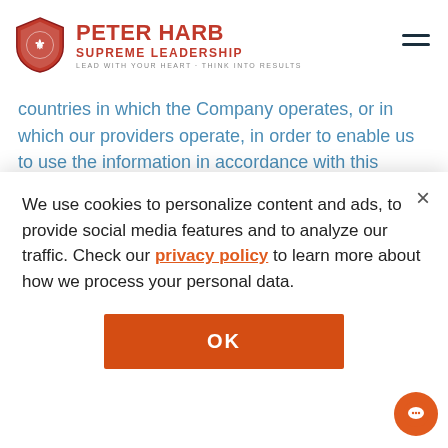[Figure (logo): Peter Harb Supreme Leadership logo with shield icon and tagline LEAD WITH YOUR HEART - THINK INTO RESULTS]
countries in which the Company operates, or in which our providers operate, in order to enable us to use the information in accordance with this policy.
Information and Personal Data that is collected may be transferred to the following countries which do not have...
We use cookies to personalize content and ads, to provide social media features and to analyze our traffic. Check our privacy policy to learn more about how we process your personal data.